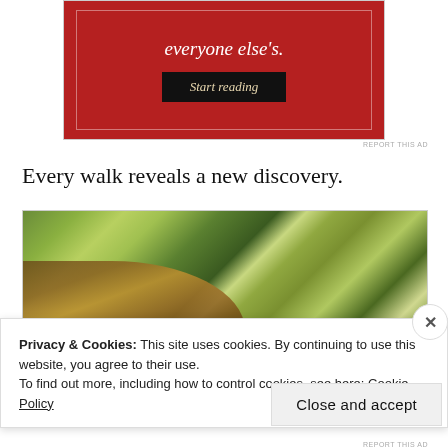[Figure (illustration): Red advertisement banner with italic serif text 'everyone else's.' and a dark 'Start reading' button, with inner white border]
REPORT THIS AD
Every walk reveals a new discovery.
[Figure (photo): Close-up photograph of a butterfly with green and brown wings resting on green leafy vegetation]
Privacy & Cookies: This site uses cookies. By continuing to use this website, you agree to their use.
To find out more, including how to control cookies, see here: Cookie Policy
Close and accept